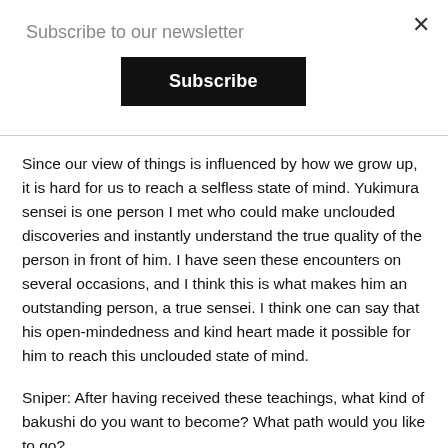Subscribe to our newsletter
Subscribe
Since our view of things is influenced by how we grow up, it is hard for us to reach a selfless state of mind. Yukimura sensei is one person I met who could make unclouded discoveries and instantly understand the true quality of the person in front of him. I have seen these encounters on several occasions, and I think this is what makes him an outstanding person, a true sensei. I think one can say that his open-mindedness and kind heart made it possible for him to reach this unclouded state of mind.
Sniper: After having received these teachings, what kind of bakushi do you want to become? What path would you like to go?
OS: Firstly, I would want to feel satisfied with the level I have reached, in a technical sense. Regardless, I will continue to study